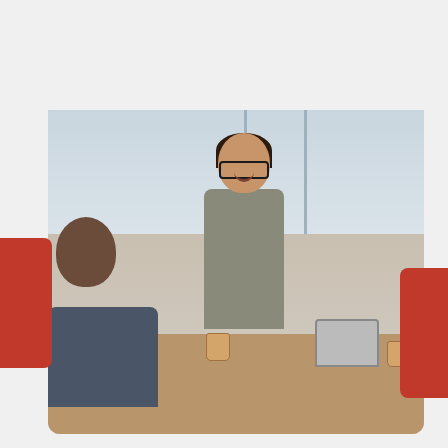[Figure (logo): IQTalent logo — circular Q icon in red followed by bold IQTALENT text in dark gray with registered trademark symbol]
[Figure (other): Hamburger menu icon — three horizontal red lines stacked]
[Figure (photo): Photo of two professionals at a meeting — a smiling woman with glasses in a blazer holding a coffee cup and a man across from her looking at a laptop, in a bright office setting]